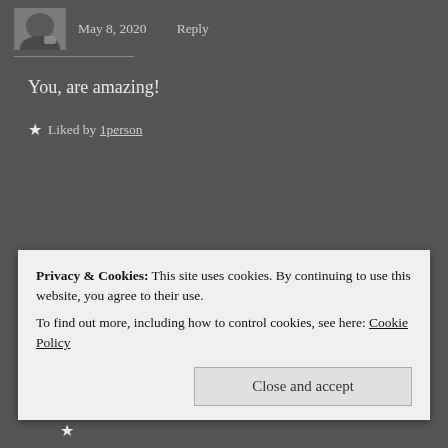[Figure (photo): Small avatar photo of a user, partially cut off at top]
May 8, 2020    Reply
You, are amazing!
★ Liked by 1person
[Figure (logo): Circular red logo with 'BB' letters and 'Bubbu's Bubble' text]
A.S.
May 8, 2020    Reply
Privacy & Cookies: This site uses cookies. By continuing to use this website, you agree to their use.
To find out more, including how to control cookies, see here: Cookie Policy
Close and accept